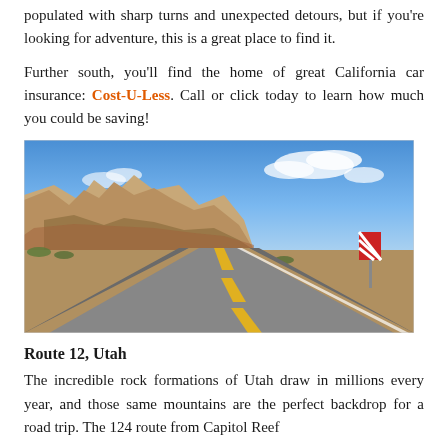populated with sharp turns and unexpected detours, but if you're looking for adventure, this is a great place to find it.
Further south, you'll find the home of great California car insurance: Cost-U-Less. Call or click today to learn how much you could be saving!
[Figure (photo): A scenic road through desert rock formations under a blue sky, likely in the American Southwest (Utah/California area). A straight two-lane highway recedes into the distance with towering sandstone buttes on the left and scrubby desert vegetation.]
Route 12, Utah
The incredible rock formations of Utah draw in millions every year, and those same mountains are the perfect backdrop for a road trip. The 124 route from Capitol Reef